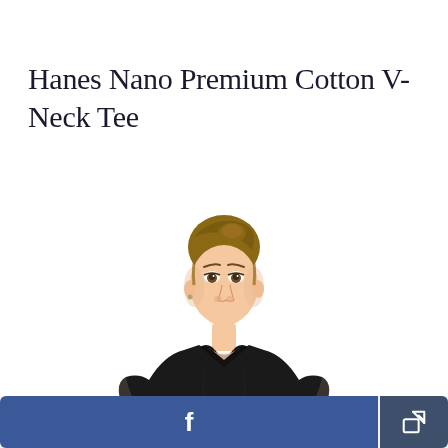Hanes Nano Premium Cotton V-Neck Tee
[Figure (photo): Woman wearing a black Hanes Nano Premium Cotton V-Neck Tee, shown from upper torso and head. She has brown hair pulled back, fair skin, and is modeling the fitted black short-sleeve v-neck t-shirt against a white background.]
Facebook share button and general share button